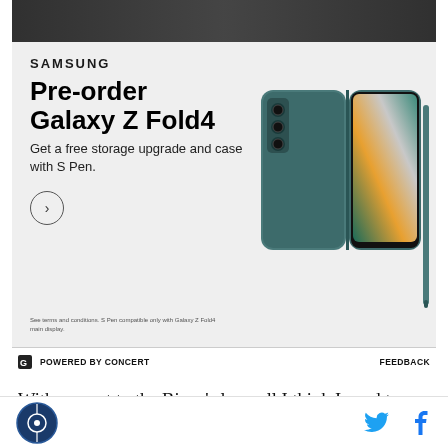[Figure (photo): Dark photograph strip at top of page, partially visible]
[Figure (infographic): Samsung advertisement for Galaxy Z Fold4. Text reads: SAMSUNG, Pre-order Galaxy Z Fold4, Get a free storage upgrade and case with S Pen. Arrow CTA button. Image of teal Galaxy Z Fold4 phone with S Pen on right side. Fine print at bottom.]
POWERED BY CONCERT    FEEDBACK
With respect to the Bison's loss, all I think I need to write is this: When your defensive efficiency value sits at 40 goals allowed per 100 defensive opportunities,
Logo | Twitter | Facebook